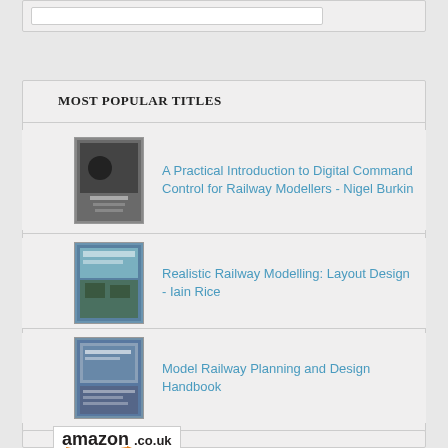MOST POPULAR TITLES
A Practical Introduction to Digital Command Control for Railway Modellers - Nigel Burkin
[Figure (illustration): Book cover thumbnail for A Practical Introduction to Digital Command Control for Railway Modellers]
Realistic Railway Modelling: Layout Design - Iain Rice
[Figure (illustration): Book cover thumbnail for Realistic Railway Modelling: Layout Design]
Model Railway Planning and Design Handbook
[Figure (illustration): Book cover thumbnail for Model Railway Planning and Design Handbook]
[Figure (logo): Amazon.co.uk logo with orange arrow]